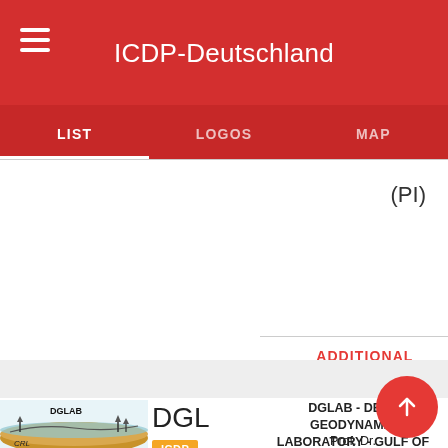ICDP-Deutschland
LIST   LOGOS   MAP
(PI)
ADDITIONAL INFORMATION
[Figure (illustration): DGLAB geological cross-section diagram showing CRL label and DGLAB label with drilling rigs]
DGLAB
ICDP
DGLAB - DEEP GEODYNAMIC LABORATORY - GULF OF CORIN...
Prof. Dr. Günter Bonn (First PI)